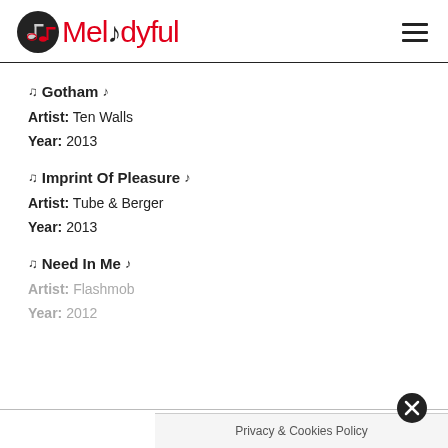Melodyful
♫ Gotham ♪
Artist: Ten Walls
Year: 2013
♫ Imprint Of Pleasure ♪
Artist: Tube & Berger
Year: 2013
♫ Need In Me ♪
Artist: Flashmob
Year: 2012
Privacy & Cookies Policy